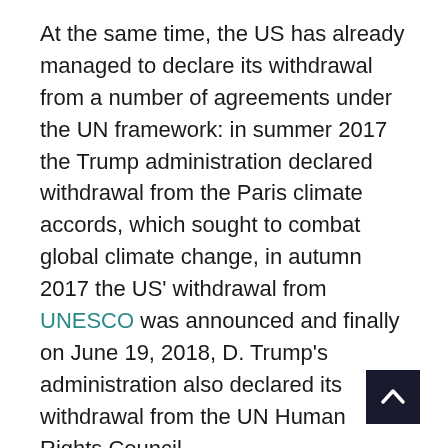At the same time, the US has already managed to declare its withdrawal from a number of agreements under the UN framework: in summer 2017 the Trump administration declared withdrawal from the Paris climate accords, which sought to combat global climate change, in autumn 2017 the US' withdrawal from UNESCO was announced and finally on June 19, 2018, D. Trump's administration also declared its withdrawal from the UN Human Rights Council.
Advertisement
On March 2018, Trump struck a blow to global trade, declaring import tariffs on steel and aluminium, which marked the start of a developing process now dubbed a "trade war". Finally, the differences of the European and US strategic